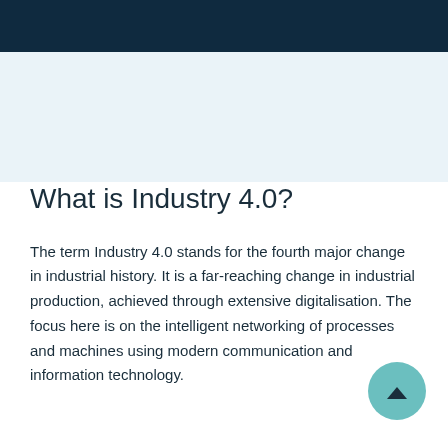What is Industry 4.0?
The term Industry 4.0 stands for the fourth major change in industrial history. It is a far-reaching change in industrial production, achieved through extensive digitalisation. The focus here is on the intelligent networking of processes and machines using modern communication and information technology.